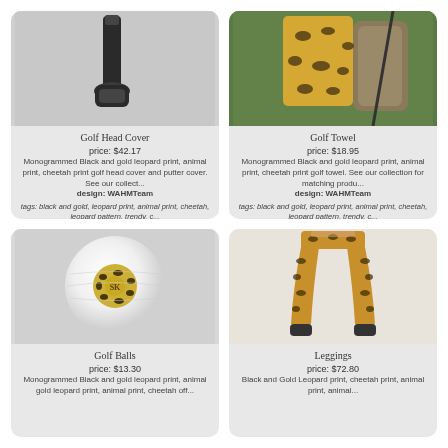[Figure (photo): Golf head cover product photo on gray background]
Golf Head Cover
price: $42.17
Monogrammed Black and gold leopard print, animal print, cheetah print golf head cover and putter cover. See our collect...
design: WAHMTeam
tags: black and gold, leopard print, animal print, cheetah, leopard pattern, trendy, c...
[Figure (photo): Golf towel with leopard print on golf bag near grass]
Golf Towel
price: $18.95
Monogrammed Black and gold leopard print, animal print, cheetah print golf towel. See our collection for matching produ...
design: WAHMTeam
tags: black and gold, leopard print, animal print, cheetah, leopard pattern, trendy, c...
[Figure (photo): White golf ball with monogrammed black and gold leopard print design]
Golf Balls
price: $13.30
Monogrammed Black and gold leopard print, animal
[Figure (photo): Leopard print leggings worn by a person]
Leggings
price: $72.80
Black and Gold Leopard print, cheetah print, animal